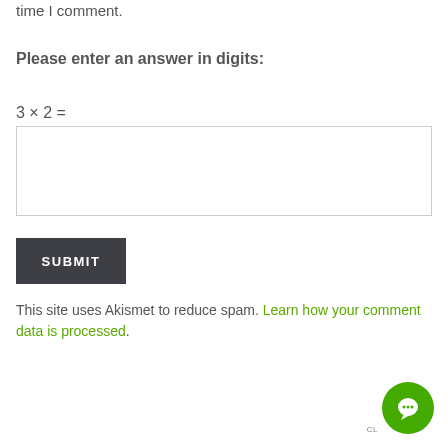time I comment.
Please enter an answer in digits:
SUBMIT
This site uses Akismet to reduce spam. Learn how your comment data is processed.